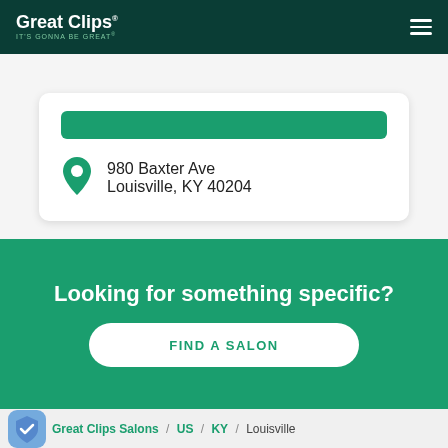Great Clips IT'S GONNA BE GREAT
980 Baxter Ave
Louisville, KY 40204
Looking for something specific?
FIND A SALON
Great Clips Salons / US / KY / Louisville